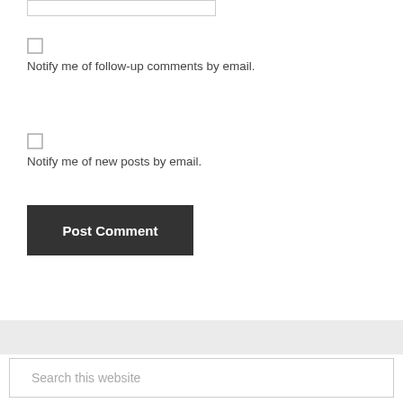Notify me of follow-up comments by email.
Notify me of new posts by email.
Post Comment
Search this website